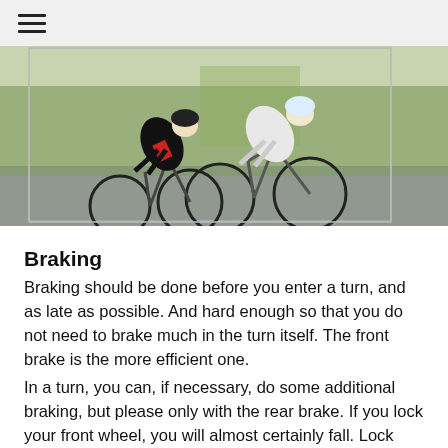≡
[Figure (photo): Two cyclists racing on a road, leaning into a turn. The cyclist in front wears a white jersey, the one behind wears a black and red jersey.]
Braking
Braking should be done before you enter a turn, and as late as possible. And hard enough so that you do not need to brake much in the turn itself. The front brake is the more efficient one.
In a turn, you can, if necessary, do some additional braking, but please only with the rear brake. If you lock your front wheel, you will almost certainly fall. Lock your rear wheel, chances are you immediately release the